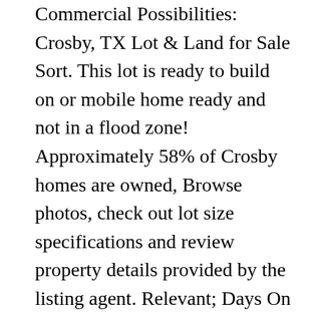Commercial Possibilities: Crosby, TX Lot & Land for Sale Sort. This lot is ready to build on or mobile home ready and not in a flood zone! Approximately 58% of Crosby homes are owned, Browse photos, check out lot size specifications and review property details provided by the listing agent. Relevant; Days On Movoto; Price High; Price Low; Sqft Big; Sqft Small $ / Sqft; Distance; Recently Updated; Map View Grid View. The deed restricted & patrolled community offers wonderful amenities including a golf course & clubhouse, park area with boat access to Lake Houston, beach area on San Jacinto River, RV & boat storage, swimming pool, tennis courts, hike & bike trails, 7-acre park with splash pad,